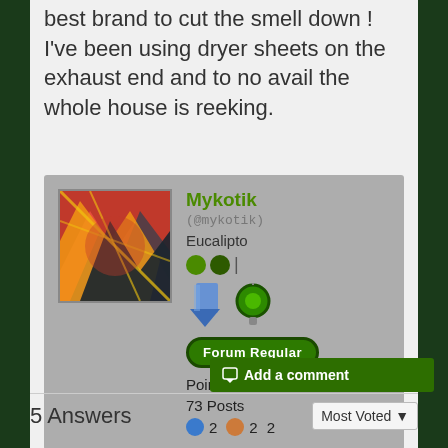best brand to cut the smell down ! I've been using dryer sheets on the exhaust end and to no avail the whole house is reeking.
[Figure (other): User profile card for Mykotik showing avatar (colorful abstract image), username in green, handle (@mykotik) in monospace, location Eucalipto, reputation icons, forum badges icons, Forum Regular badge button, Points: 1281, 73 Posts, and medal counts 2 bronze circles 2 orange circle 2]
Add a comment
5 Answers